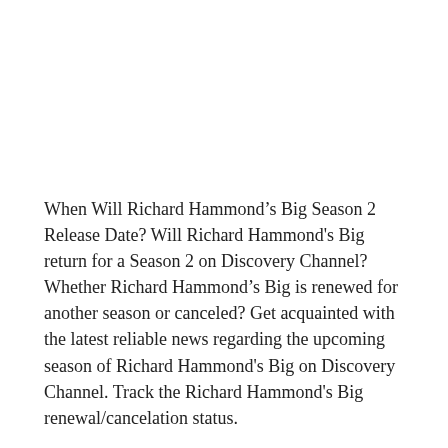When Will Richard Hammond’s Big Season 2 Release Date? Will Richard Hammond's Big return for a Season 2 on Discovery Channel? Whether Richard Hammond’s Big is renewed for another season or canceled? Get acquainted with the latest reliable news regarding the upcoming season of Richard Hammond's Big on Discovery Channel. Track the Richard Hammond's Big renewal/cancelation status.
Richard Hammond's Big kicked off on January 15, 2020 on Discovery Channel. Richard Hammond's Big is a 60-